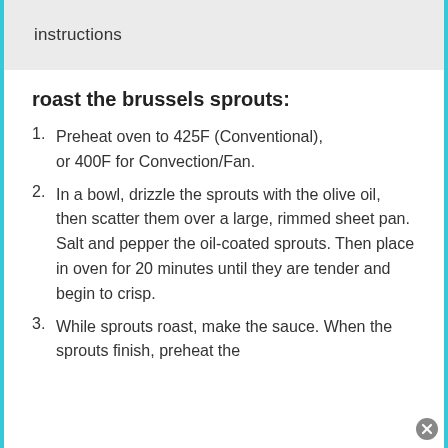instructions
roast the brussels sprouts:
Preheat oven to 425F (Conventional), or 400F for Convection/Fan.
In a bowl, drizzle the sprouts with the olive oil, then scatter them over a large, rimmed sheet pan. Salt and pepper the oil-coated sprouts. Then place in oven for 20 minutes until they are tender and begin to crisp.
While sprouts roast, make the sauce. When the sprouts finish, preheat the